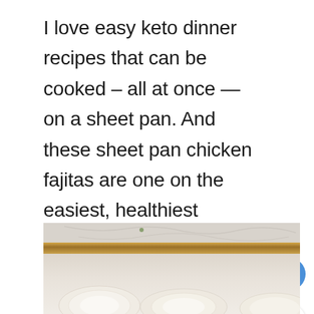I love easy keto dinner recipes that can be cooked – all at once — on a sheet pan. And these sheet pan chicken fajitas are one on the easiest, healthiest weeknight dinners to have come out of my oven! This one-pan dinner recipe is so simple to make, and something your whole family will enjoy.
[Figure (photo): A sheet pan on a white marble surface, with what appears to be food ingredients (possibly chicken and onions) visible in the lower portion of the pan.]